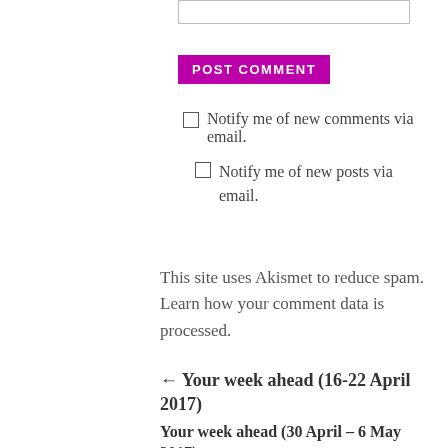POST COMMENT
Notify me of new comments via email.
Notify me of new posts via email.
This site uses Akismet to reduce spam. Learn how your comment data is processed.
← Your week ahead (16-22 April 2017)
Your week ahead (30 April – 6 May 2017) →